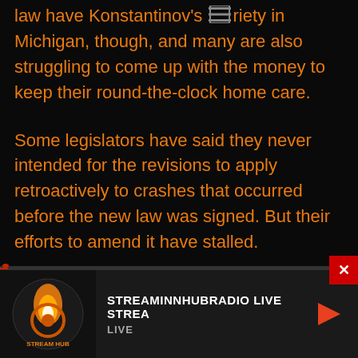law have Konstantinov's notoriety in Michigan, though, and many are also struggling to come up with the money to keep their round-the-clock home care.
Some legislators have said they never intended for the revisions to apply retroactively to crashes that occurred before the new law was signed. But their efforts to amend it have stalled.
“I do not believe it was the intent of the Legislature for the home health care attendants to take this type of a cut,” said Republican state Rep. Phil Green, who
[Figure (logo): StreamInnHubRadio logo with flame and hub graphic on dark background]
STREAMINNHUBRADIO LIVE STREA
LIVE